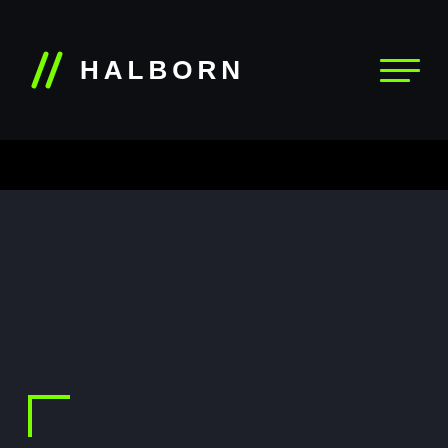// HALBORN
STAY UPDATED
EMAIL ADDRESS